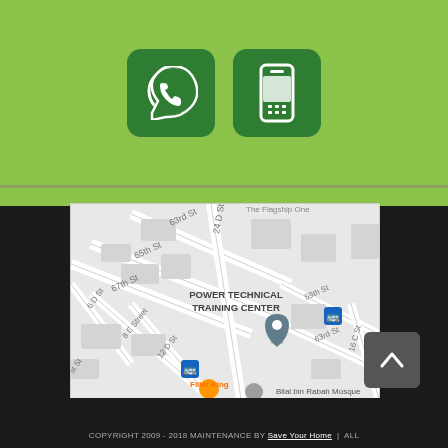[Figure (other): WhatsApp icon button (white phone in speech bubble on dark green rounded square background)]
[Figure (other): Mobile phone icon button (white cell phone on dark green rounded square background)]
[Figure (map): Google Maps screenshot showing Power Technical Training Center location with surrounding streets including 63rd St, 65th St, 67th St, 24 D St, 6 D St, 8 E Street, 12 D St, 59th St, 63rd St, 16 C St. Map markers visible. Fillet King and Bilal bin Rabah Mosque labeled.]
[Figure (other): Scroll-to-top button with upward caret arrow on dark grey background]
COPYRIGHT 2009 - 2018 MAINTENANCE BY Save Your Home | ALL